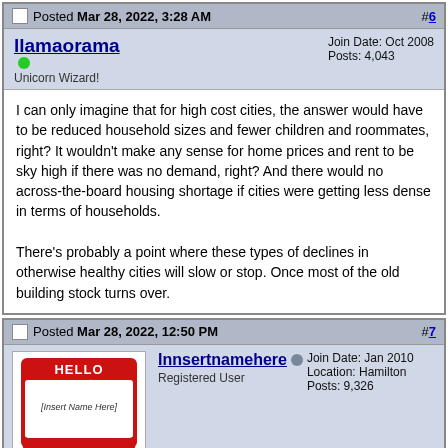Posted Mar 28, 2022, 3:28 AM #6
llamaorama
Unicorn Wizard!
Join Date: Oct 2008
Posts: 4,043
I can only imagine that for high cost cities, the answer would have to be reduced household sizes and fewer children and roommates, right? It wouldn't make any sense for home prices and rent to be sky high if there was no demand, right? And there would no across-the-board housing shortage if cities were getting less dense in terms of households.

There's probably a point where these types of declines in otherwise healthy cities will slow or stop. Once most of the old building stock turns over.
Posted Mar 28, 2022, 12:50 PM #7
[Figure (illustration): A red HELLO my name is nametag sticker with text 'HELLO our name is [Insert Name Here]']
Innsertnamehere
Registered User
Join Date: Jan 2010
Location: Hamilton
Posts: 9,326
immigration and increased deaths for the year with COVID. 2022 data will be key to see if the trend holds or not, I suspect it will not